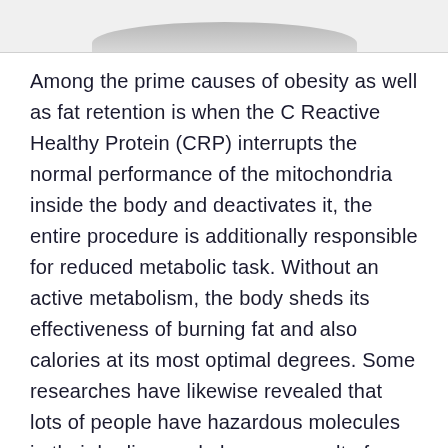[Figure (photo): Partial image at top of page showing the bottom edge of an object, appears to be a rounded/curved shape in gray tones]
Among the prime causes of obesity as well as fat retention is when the C Reactive Healthy Protein (CRP) interrupts the normal performance of the mitochondria inside the body and deactivates it, the entire procedure is additionally responsible for reduced metabolic task. Without an active metabolism, the body sheds its effectiveness of burning fat and also calories at its most optimal degrees. Some researches have likewise revealed that lots of people have hazardous molecules in their bodies, and also as a result of enhanced weight, it is difficult to purge them out of the system.